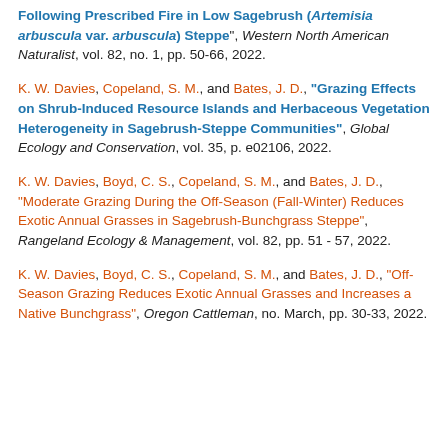Following Prescribed Fire in Low Sagebrush (Artemisia arbuscula var. arbuscula) Steppe", Western North American Naturalist, vol. 82, no. 1, pp. 50-66, 2022.
K. W. Davies, Copeland, S. M., and Bates, J. D., "Grazing Effects on Shrub-Induced Resource Islands and Herbaceous Vegetation Heterogeneity in Sagebrush-Steppe Communities", Global Ecology and Conservation, vol. 35, p. e02106, 2022.
K. W. Davies, Boyd, C. S., Copeland, S. M., and Bates, J. D., "Moderate Grazing During the Off-Season (Fall-Winter) Reduces Exotic Annual Grasses in Sagebrush-Bunchgrass Steppe", Rangeland Ecology & Management, vol. 82, pp. 51 - 57, 2022.
K. W. Davies, Boyd, C. S., Copeland, S. M., and Bates, J. D., "Off-Season Grazing Reduces Exotic Annual Grasses and Increases a Native Bunchgrass", Oregon Cattleman, no. March, pp. 30-33, 2022.